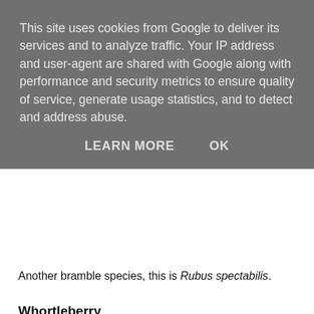This site uses cookies from Google to deliver its services and to analyze traffic. Your IP address and user-agent are shared with Google along with performance and security metrics to ensure quality of service, generate usage statistics, and to detect and address abuse.
LEARN MORE   OK
Another bramble species, this is Rubus spectabilis.
Whortleberry
Not even a Rubus, but a Vaccinum, or blueberry.
Chokeberry, aka Aronia
This is one in a long line of superfood berries. There's a new one every month, isn't there?
Then there are ollalieberries, which are a specific blackberry hybrid; youngberries, which are three-quarters of a boysenberry, being a cross between the European raspberry, blackberry and dewberry; marionberries, a blackberry cultivar (Rubus L. subgenus Rubus) developed in